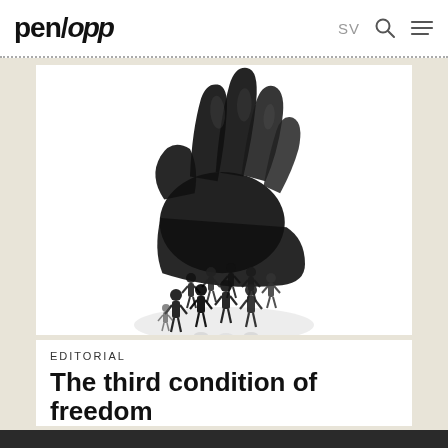pen/opp  SV
[Figure (illustration): Black and white artistic photo: a large dark silhouette of a hand reaching down from above toward a group of small human figurines on a reflective surface below]
EDITORIAL
The third condition of freedom